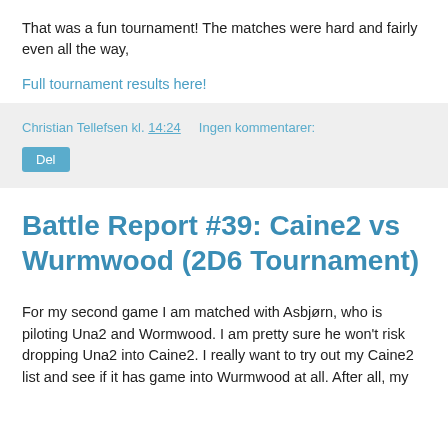That was a fun tournament! The matches were hard and fairly even all the way,
Full tournament results here!
Christian Tellefsen kl. 14:24   Ingen kommentarer:
Del
Battle Report #39: Caine2 vs Wurmwood (2D6 Tournament)
For my second game I am matched with Asbjørn, who is piloting Una2 and Wormwood. I am pretty sure he won't risk dropping Una2 into Caine2. I really want to try out my Caine2 list and see if it has game into Wurmwood at all. After all, my